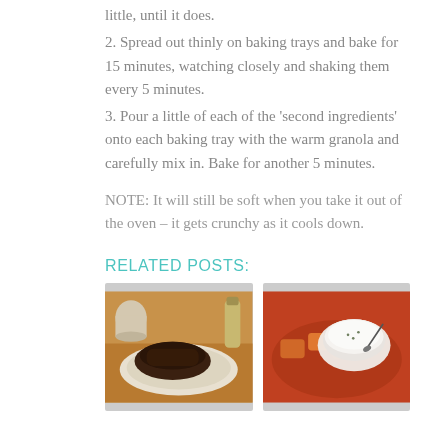little, until it does.
2. Spread out thinly on baking trays and bake for 15 minutes, watching closely and shaking them every 5 minutes.
3. Pour a little of each of the 'second ingredients' onto each baking tray with the warm granola and carefully mix in. Bake for another 5 minutes.
NOTE: It will still be soft when you take it out of the oven – it gets crunchy as it cools down.
RELATED POSTS:
[Figure (photo): A dark chocolate granola bar or brownie on a white plate with a wooden background]
[Figure (photo): A bowl of rhubarb compote with a small white ramekin of cream or yogurt with a spoon]